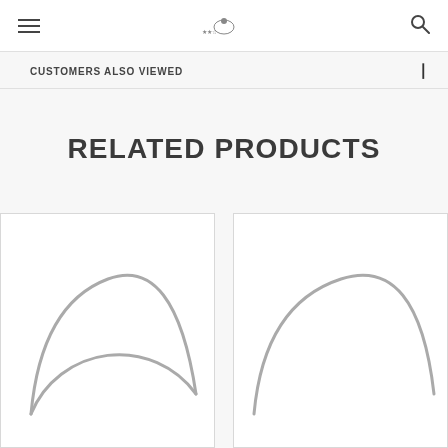[hamburger menu] [logo] [search icon]
CUSTOMERS ALSO VIEWED
RELATED PRODUCTS
[Figure (photo): Product placeholder image showing a semicircle/arch outline in gray on white background — left product card]
[Figure (photo): Product placeholder image showing a semicircle/arch outline in gray on white background — right product card]